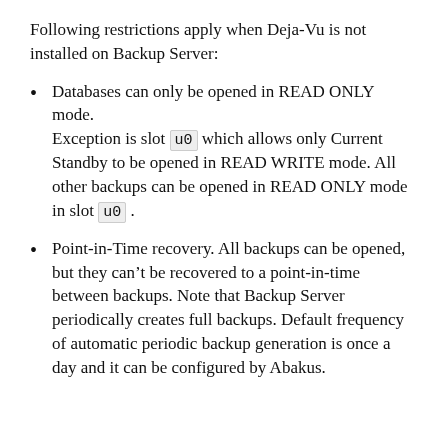Following restrictions apply when Deja-Vu is not installed on Backup Server:
Databases can only be opened in READ ONLY mode.
Exception is slot u0 which allows only Current Standby to be opened in READ WRITE mode. All other backups can be opened in READ ONLY mode in slot u0.
Point-in-Time recovery. All backups can be opened, but they can't be recovered to a point-in-time between backups. Note that Backup Server periodically creates full backups. Default frequency of automatic periodic backup generation is once a day and it can be configured by Abakus.